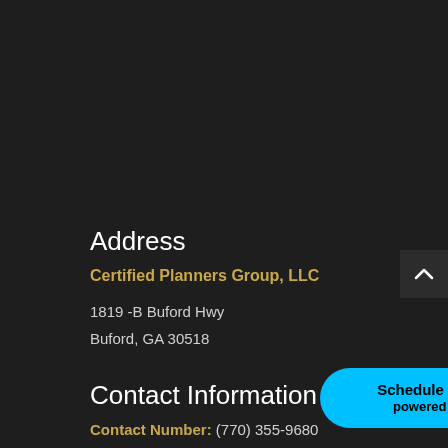Address
Certified Planners Group, LLC
1819 -B Buford Hwy
Buford, GA 30518
Contact Information
Contact Number: (770) 355-9680
[Figure (other): Scroll up button - dark square with upward chevron arrow]
[Figure (other): Calendly scheduling button - cyan rounded pill button with text 'Schedule time with me powered by Calendly']